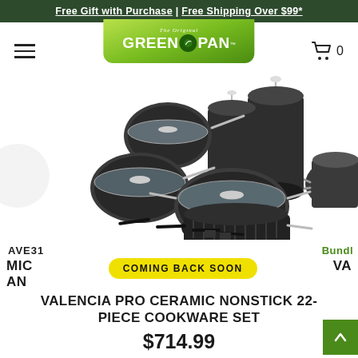Free Gift with Purchase | Free Shipping Over $99*
[Figure (logo): GreenPan The Original Green Pan logo on green rounded-bottom rectangle]
[Figure (photo): Valencia Pro Ceramic Nonstick 22-piece cookware set displayed on white background, showing multiple dark grey pots, pans, and lids]
AVE31
Bundl
MIC AN
VA
COMING BACK SOON
VALENCIA PRO CERAMIC NONSTICK 22-PIECE COOKWARE SET
$714.99